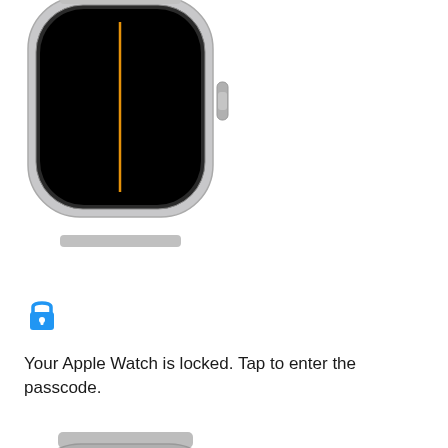[Figure (illustration): Apple Watch showing locked screen with black face and vertical orange line, silver stainless steel case, top portion cropped]
[Figure (illustration): Blue padlock icon indicating locked state]
Your Apple Watch is locked. Tap to enter the passcode.
[Figure (illustration): Apple Watch showing clock face with white hands, orange second hand/vertical line, small teal indicator at top, silver stainless steel case]